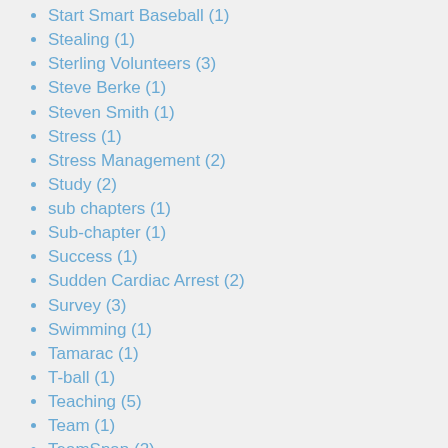Start Smart Baseball (1)
Stealing (1)
Sterling Volunteers (3)
Steve Berke (1)
Steven Smith (1)
Stress (1)
Stress Management (2)
Study (2)
sub chapters (1)
Sub-chapter (1)
Success (1)
Sudden Cardiac Arrest (2)
Survey (3)
Swimming (1)
Tamarac (1)
T-ball (1)
Teaching (5)
Team (1)
TeamSnap (2)
Teamwork (2)
Technology (1)
TEDx (1)
Teens (1)